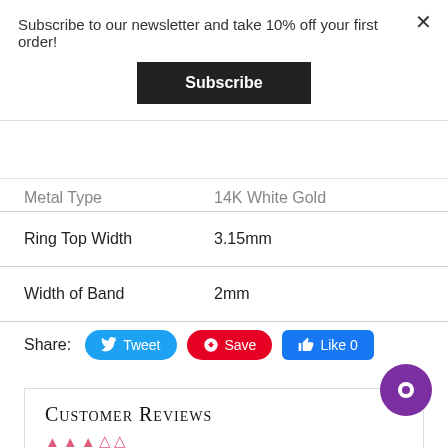Subscribe to our newsletter and take 10% off your first order!
Subscribe
| Metal Type | 14K White Gold |
| Ring Top Width | 3.15mm |
| Width of Band | 2mm |
Share: Tweet Save Like 0
Customer Reviews